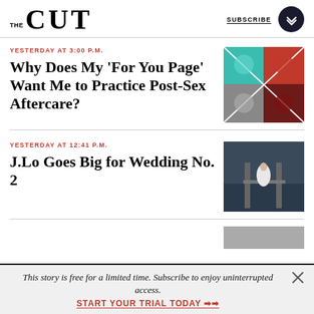THE CUT | SUBSCRIBE
YESTERDAY AT 3:00 P.M.
Why Does My ‘For You Page’ Want Me to Practice Post-Sex Aftercare?
[Figure (photo): Collage of faces with teal and red overlay]
YESTERDAY AT 12:41 P.M.
J.Lo Goes Big for Wedding No. 2
[Figure (photo): Aerial photo of a person in white dress on a dock or boat]
This story is free for a limited time. Subscribe to enjoy uninterrupted access.
START YOUR TRIAL TODAY ➡➡